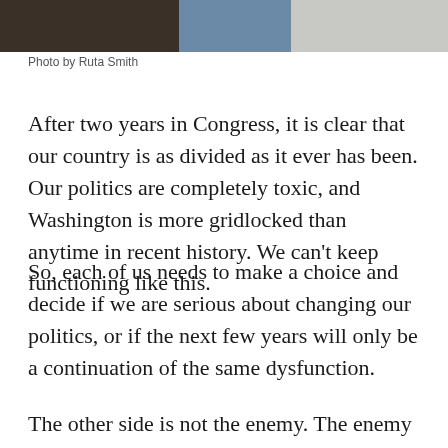[Figure (photo): Cropped photo showing lower portion of a person standing, wearing jeans, against a brick wall background with a light gray wall section on the right.]
Photo by Ruta Smith
After two years in Congress, it is clear that our country is as divided as it ever has been. Our politics are completely toxic, and Washington is more gridlocked than anytime in recent history. We can't keep functioning like this.
So, each of us needs to make a choice and decide if we are serious about changing our politics, or if the next few years will only be a continuation of the same dysfunction.
The other side is not the enemy. The enemy is the